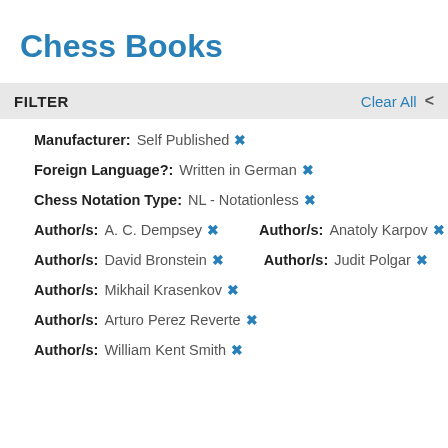Chess Books
FILTER
Manufacturer: Self Published ×
Foreign Language?: Written in German ×
Chess Notation Type: NL - Notationless ×
Author/s: A. C. Dempsey × Author/s: Anatoly Karpov ×
Author/s: David Bronstein × Author/s: Judit Polgar ×
Author/s: Mikhail Krasenkov ×
Author/s: Arturo Perez Reverte ×
Author/s: William Kent Smith ×